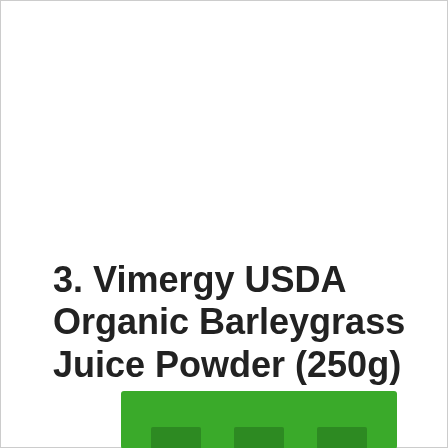3. Vimergy USDA Organic Barleygrass Juice Powder (250g)
[Figure (photo): Bottom portion of a green product package (Vimergy USDA Organic Barleygrass Juice Powder) visible at the bottom edge of the page, showing bright green packaging with partial tabs visible.]